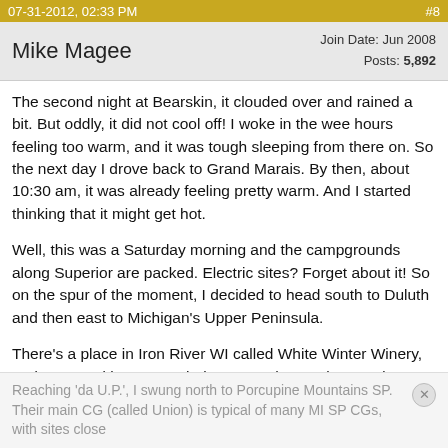07-31-2012, 02:33 PM    #8
Mike Magee
Join Date: Jun 2008
Posts: 5,892
The second night at Bearskin, it clouded over and rained a bit. But oddly, it did not cool off! I woke in the wee hours feeling too warm, and it was tough sleeping from there on. So the next day I drove back to Grand Marais. By then, about 10:30 am, it was already feeling pretty warm. And I started thinking that it might get hot.
Well, this was a Saturday morning and the campgrounds along Superior are packed. Electric sites? Forget about it! So on the spur of the moment, I decided to head south to Duluth and then east to Michigan's Upper Peninsula.
There's a place in Iron River WI called White Winter Winery, and I stopped in to taste their wares. They make mead, actually, not wine (unless you count the cyser). The blueberry mead tasted delicious and I picked up 3 bottles to take home, along with 1 raspberry mead for my daughter.
Reaching 'da U.P.', I swung north to Porcupine Mountains SP. Their main CG (called Union) is typical of many MI SP CGs, with sites close